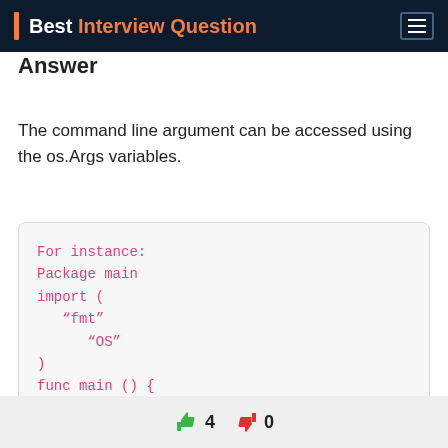Best Interview Question
Answer
The command line argument can be accessed using the os.Args variables.
For instance:
Package main
import (
    “fmt”
        “OS”
)
func main () {
    fmt.Println(len(os.Args), os.Args)
}
👍 4  👎 0